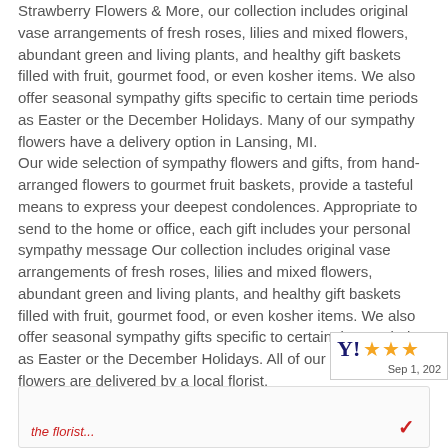Strawberry Flowers & More, our collection includes original vase arrangements of fresh roses, lilies and mixed flowers, abundant green and living plants, and healthy gift baskets filled with fruit, gourmet food, or even kosher items. We also offer seasonal sympathy gifts specific to certain time periods as Easter or the December Holidays. Many of our sympathy flowers have a delivery option in Lansing, MI.
Our wide selection of sympathy flowers and gifts, from hand-arranged flowers to gourmet fruit baskets, provide a tasteful means to express your deepest condolences. Appropriate to send to the home or office, each gift includes your personal sympathy message Our collection includes original vase arrangements of fresh roses, lilies and mixed flowers, abundant green and living plants, and healthy gift baskets filled with fruit, gourmet food, or even kosher items. We also offer seasonal sympathy gifts specific to certain time periods as Easter or the December Holidays. All of our sympathy flowers are delivered by a local florist.
[Figure (other): Rating badge showing Y! logo with 3 orange stars and date Sep 1, 202x]